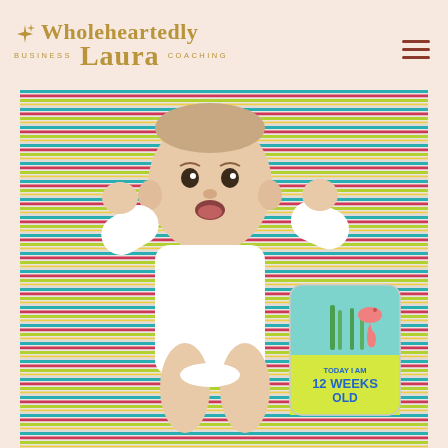Wholeheartedly Laura Business Coaching
[Figure (photo): A baby approximately 12 weeks old lying on a colorful striped knit blanket (stripes of teal, red, green, white, yellow). The baby wears a white onesie and has arms raised. Next to the baby is a milestone card featuring a seahorse illustration that reads 'TODAY I AM 12 WEEKS OLD' in blue text on a yellow/green background.]